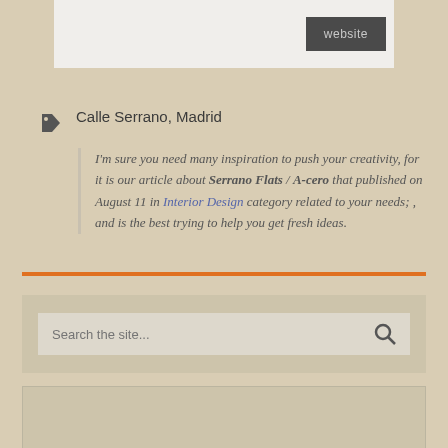[Figure (other): Top card with a dark grey 'website' button on the right side, light grey background]
Calle Serrano, Madrid
I'm sure you need many inspiration to push your creativity, for it is our article about Serrano Flats / A-cero that published on August 11 in Interior Design category related to your needs; , and is the best trying to help you get fresh ideas.
[Figure (other): Orange horizontal divider line]
Search the site...
[Figure (other): Bottom card area, empty beige/tan box]